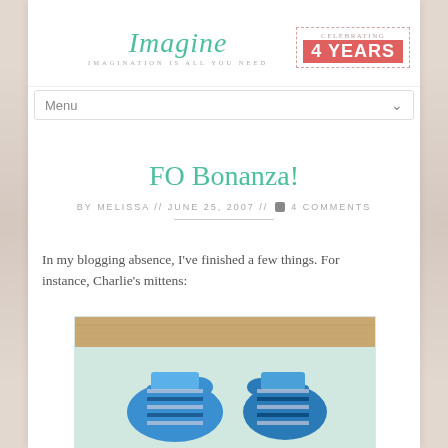Imagine — IMAGINATION IS ALL YOU NEED | Celebrating 4 Years
Menu
FO Bonanza!
BY MELISSA // JUNE 25, 2007 // 💬 4 COMMENTS
In my blogging absence, I've finished a few things. For instance, Charlie's mittens:
[Figure (photo): Two blue and grey striped knitted mittens laid flat on a wooden surface]